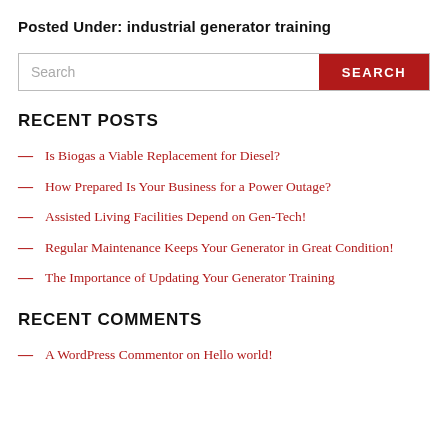Posted Under: industrial generator training
[Figure (other): Search bar with text field and red SEARCH button]
RECENT POSTS
— Is Biogas a Viable Replacement for Diesel?
— How Prepared Is Your Business for a Power Outage?
— Assisted Living Facilities Depend on Gen-Tech!
— Regular Maintenance Keeps Your Generator in Great Condition!
— The Importance of Updating Your Generator Training
RECENT COMMENTS
— A WordPress Commentor on Hello world!